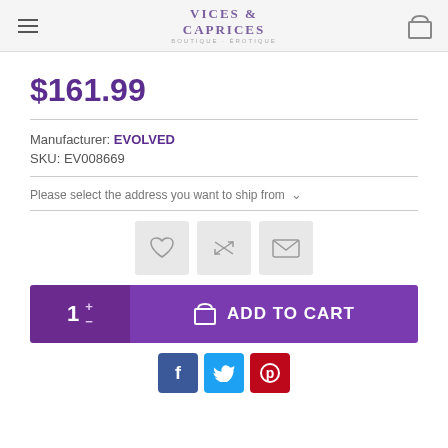Vices & Caprices
$161.99
Manufacturer: EVOLVED
SKU: EV008669
Please select the address you want to ship from
[Figure (other): Icon buttons: heart (wishlist), shuffle/compare, email]
[Figure (other): Add to Cart button with quantity selector showing 1]
[Figure (other): Social share buttons: Facebook, Twitter, Pinterest]